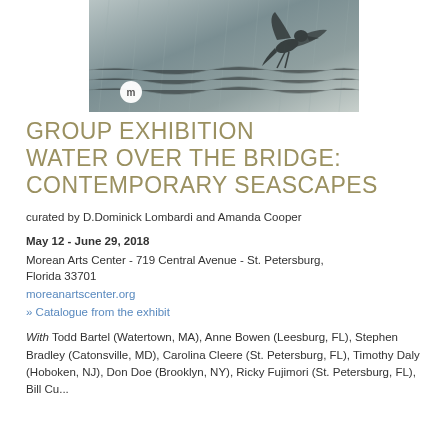[Figure (photo): Black and white photograph of a bird (appears to be a seabird) in motion against a textured water/rain background, with a small circular logo with letter 'm' in the lower left of the image]
GROUP EXHIBITION WATER OVER THE BRIDGE: CONTEMPORARY SEASCAPES
curated by D.Dominick Lombardi and Amanda Cooper
May 12 - June 29, 2018
Morean Arts Center - 719 Central Avenue - St. Petersburg, Florida 33701
moreanartscenter.org
» Catalogue from the exhibit
With Todd Bartel (Watertown, MA), Anne Bowen (Leesburg, FL), Stephen Bradley (Catonsville, MD), Carolina Cleere (St. Petersburg, FL), Timothy Daly (Hoboken, NJ), Don Doe (Brooklyn, NY), Ricky Fujimori (St. Petersburg, FL), Bill Curie...